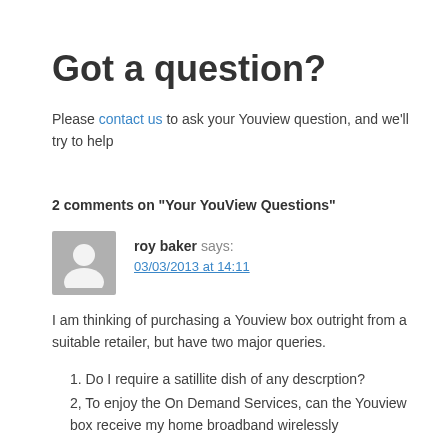Got a question?
Please contact us to ask your Youview question, and we'll try to help
2 comments on “Your YouView Questions”
roy baker says: 03/03/2013 at 14:11
I am thinking of purchasing a Youview box outright from a suitable retailer, but have two major queries.
1. Do I require a satillite dish of any descrption?
2, To enjoy the On Demand Services, can the Youview box receive my home broadband wirelessly